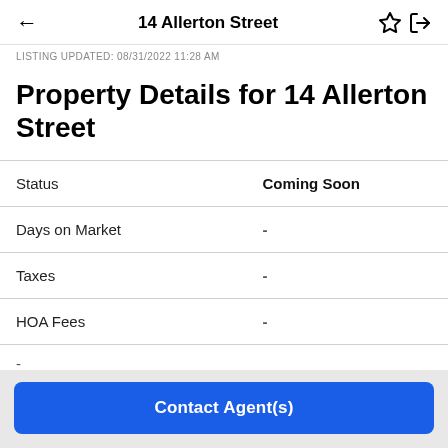14 Allerton Street
LISTING UPDATED: 08/31/2022 11:28 AM
Property Details for 14 Allerton Street
|  |  |
| --- | --- |
| Status | Coming Soon |
| Days on Market | - |
| Taxes | - |
| HOA Fees | - |
Contact Agent(s)